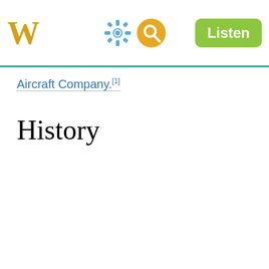W [settings icon] [search icon] Listen
Aircraft Company.[1]
History